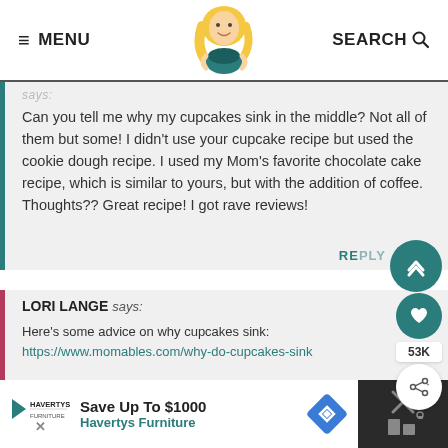≡ MENU | [logo] | SEARCH 🔍
Can you tell me why my cupcakes sink in the middle? Not all of them but some! I didn't use your cupcake recipe but used the cookie dough recipe. I used my Mom's favorite chocolate cake recipe, which is similar to yours, but with the addition of coffee. Thoughts?? Great recipe! I got rave reviews!
LORI LANGE says:
Here's some advice on why cupcakes sink:
https://www.momables.com/why-do-cupcakes-sink
[Figure (infographic): Save Up To $1000 — Havertys Furniture advertisement banner]